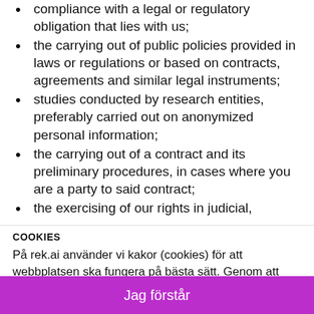compliance with a legal or regulatory obligation that lies with us;
the carrying out of public policies provided in laws or regulations or based on contracts, agreements and similar legal instruments;
studies conducted by research entities, preferably carried out on anonymized personal information;
the carrying out of a contract and its preliminary procedures, in cases where you are a party to said contract;
the exercising of our rights in judicial,
COOKIES
På rek.ai använder vi kakor (cookies) för att webbplatsen ska fungera på bästa sätt. Genom att surfa vidare godkänner du att vi använder dem. Läs mer om hur vi använder cookies.
Jag förstår